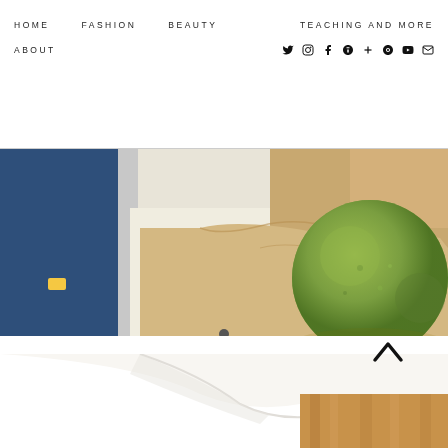HOME   FASHION   BEAUTY   TEACHING AND MORE   ABOUT   [social icons: twitter, instagram, facebook, google+, plus, pinterest, youtube, mail]
[Figure (photo): Close-up photo of a green spherical bath bomb or fruit on brown paper bags, with blue fabric visible on the left side, on a white surface]
[Figure (photo): Close-up photo of a white bathtub or sink edge with a wooden background, partially visible]